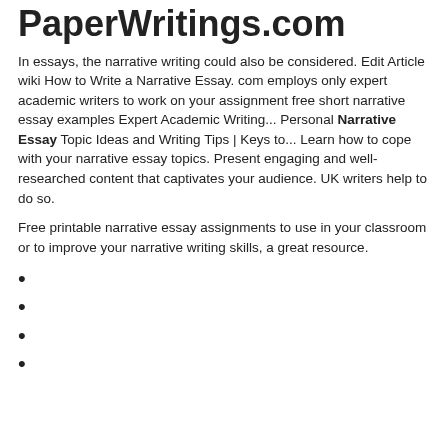Samples Blog PaperWritings.com
In essays, the narrative writing could also be considered. Edit Article wiki How to Write a Narrative Essay. com employs only expert academic writers to work on your assignment free short narrative essay examples Expert Academic Writing... Personal Narrative Essay Topic Ideas and Writing Tips | Keys to... Learn how to cope with your narrative essay topics. Present engaging and well-researched content that captivates your audience. UK writers help to do so.
Free printable narrative essay assignments to use in your classroom or to improve your narrative writing skills, a great resource.